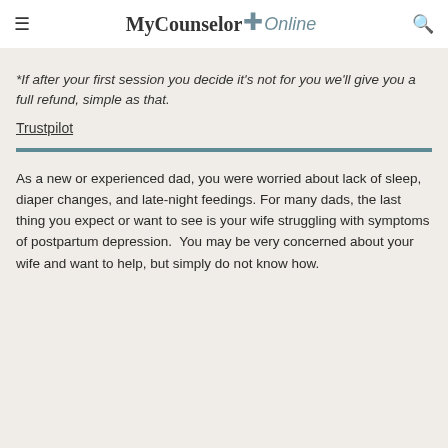MyCounselor Online
*If after your first session you decide it's not for you we'll give you a full refund, simple as that.
Trustpilot
As a new or experienced dad, you were worried about lack of sleep, diaper changes, and late-night feedings. For many dads, the last thing you expect or want to see is your wife struggling with symptoms of postpartum depression.  You may be very concerned about your wife and want to help, but simply do not know how.